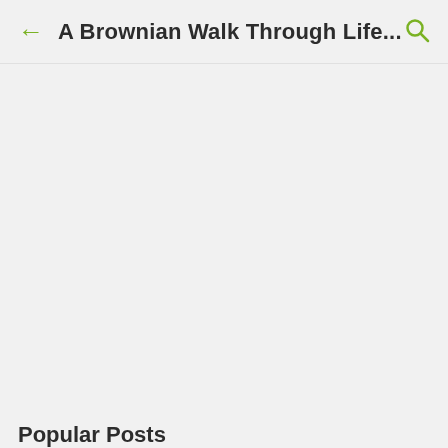A Brownian Walk Through Life...
Popular Posts